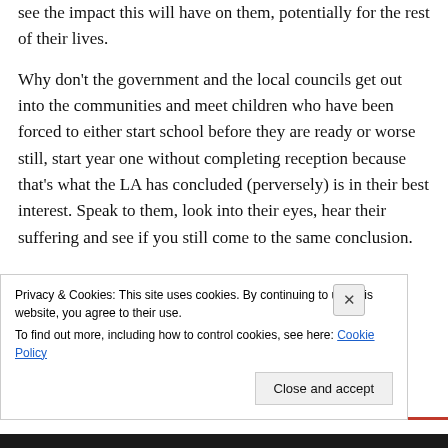see the impact this will have on them, potentially for the rest of their lives.
Why don't the government and the local councils get out into the communities and meet children who have been forced to either start school before they are ready or worse still, start year one without completing reception because that's what the LA has concluded (perversely) is in their best interest. Speak to them, look into their eyes, hear their suffering and see if you still come to the same conclusion.
Privacy & Cookies: This site uses cookies. By continuing to use this website, you agree to their use.
To find out more, including how to control cookies, see here: Cookie Policy